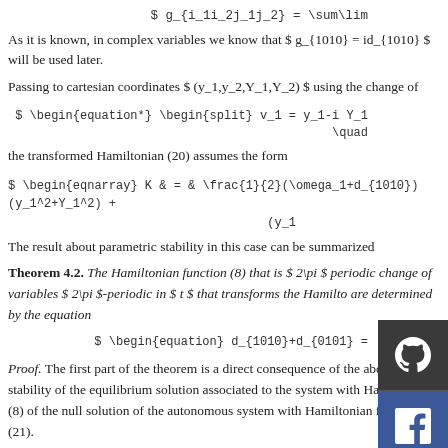As it is known, in complex variables we know that $ g_{1010} = id_{1010} $ will be used later.
Passing to cartesian coordinates $ (y_1,y_2,Y_1,Y_2) $ using the change of
the transformed Hamiltonian (20) assumes the form
The result about parametric stability in this case can be summarized
Theorem 4.2. The Hamiltonian function (8) that is $ 2\pi $ periodic change of variables $ 2\pi $-periodic in $ t $ that transforms the Hamilto are determined by the equation
Proof. The first part of the theorem is a direct consequence of the above, stability of the equilibrium solution associated to the system with Hamiltonian (8) of the null solution of the autonomous system with Hamiltonian function (21).